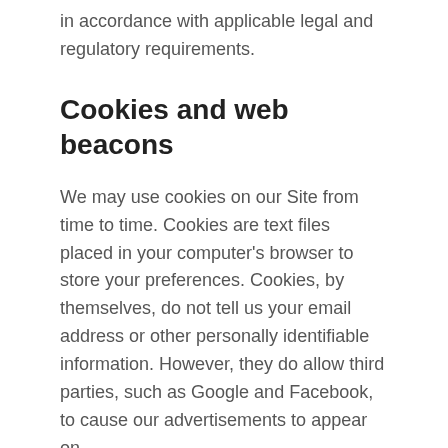in accordance with applicable legal and regulatory requirements.
Cookies and web beacons
We may use cookies on our Site from time to time. Cookies are text files placed in your computer's browser to store your preferences. Cookies, by themselves, do not tell us your email address or other personally identifiable information. However, they do allow third parties, such as Google and Facebook, to cause our advertisements to appear on